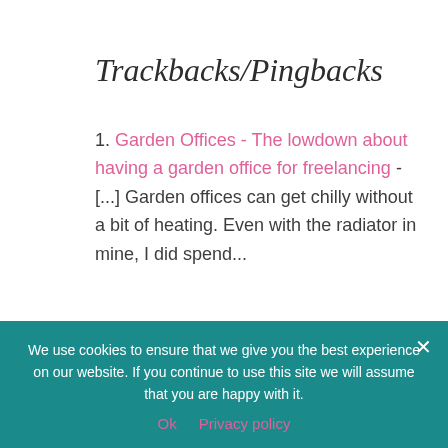Trackbacks/Pingbacks
1. Garden Offices - The lowdown about having a garden office for freelancing - [...] Garden offices can get chilly without a bit of heating. Even with the radiator in mine, I did spend...
Submit a Comment
Your email address will not be published. Required fields are marked *
Comment *
We use cookies to ensure that we give you the best experience on our website. If you continue to use this site we will assume that you are happy with it.
Ok   Privacy policy